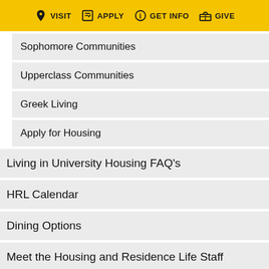VISIT  APPLY  GET INFO  GIVE
Sophomore Communities
Upperclass Communities
Greek Living
Apply for Housing
Living in University Housing FAQ's
HRL Calendar
Dining Options
Meet the Housing and Residence Life Staff